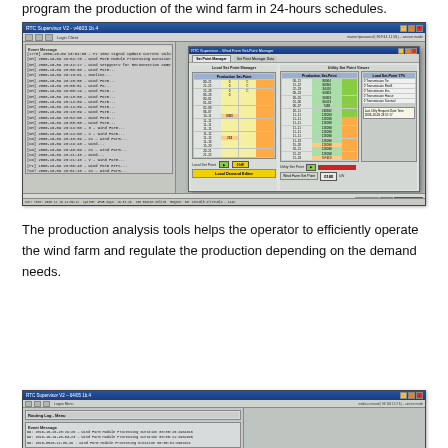program the production of the wind farm in 24-hours schedules.
[Figure (screenshot): RTC Supervisor software screenshot showing wind farm set-point manager interface with production scheduling grid, local and utility set-point managers, load set-point controls, and a time-based schedule bar at the bottom.]
The production analysis tools helps the operator to efficiently operate the wind farm and regulate the production depending on the demand needs.
[Figure (screenshot): RTC Supervisor software screenshot showing event message log with wind farm module processing duration entries.]